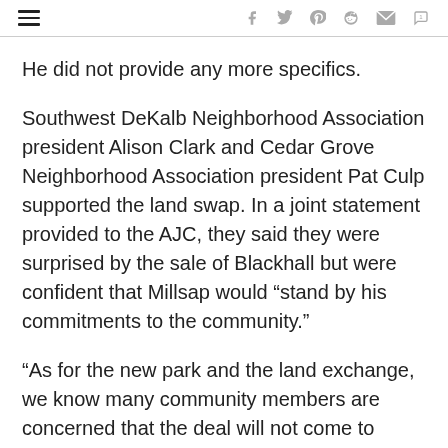[Navigation bar with hamburger menu and social icons: f, Twitter, Pinterest, Reddit, Mail, Comment]
He did not provide any more specifics.
Southwest DeKalb Neighborhood Association president Alison Clark and Cedar Grove Neighborhood Association president Pat Culp supported the land swap. In a joint statement provided to the AJC, they said they were surprised by the sale of Blackhall but were confident that Millsap would “stand by his commitments to the community.”
“As for the new park and the land exchange, we know many community members are concerned that the deal will not come to fruition,” Clark and Culp said. “However, community leaders remain